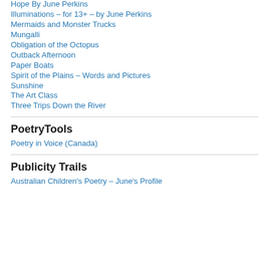Hope By June Perkins
Illuminations – for 13+ – by June Perkins
Mermaids and Monster Trucks
Mungalli
Obligation of the Octopus
Outback Afternoon
Paper Boats
Spirit of the Plains – Words and Pictures
Sunshine
The Art Class
Three Trips Down the River
PoetryTools
Poetry in Voice (Canada)
Publicity Trails
Australian Children's Poetry – June's Profile